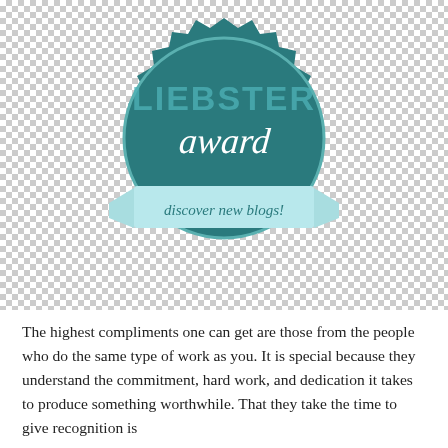[Figure (logo): Liebster Award badge — a dark teal starburst/seal shape with a circle inside. Inside the circle: 'LIEBSTER' in large caps and 'award' in cursive script. Below the circle, a light blue ribbon banner reads 'discover new blogs!' in cursive. The background shows a checkered/transparent pattern.]
The highest compliments one can get are those from the people who do the same type of work as you. It is special because they understand the commitment, hard work, and dedication it takes to produce something worthwhile. That they take the time to give recognition is